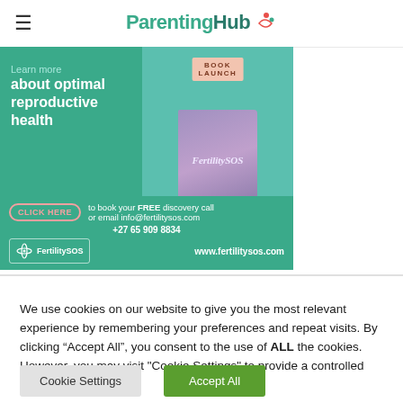ParentingHub
[Figure (infographic): FertilitySOS advertisement banner: teal background with text 'Learn more about optimal reproductive health', a book cover showing 'FertilitySOS', a BOOK LAUNCH label, a CLICK HERE button, contact info 'to book your FREE discovery call or email info@fertilitysos.com +27 65 909 8834', and FertilitySOS logo with www.fertilitysos.com]
We use cookies on our website to give you the most relevant experience by remembering your preferences and repeat visits. By clicking “Accept All”, you consent to the use of ALL the cookies. However, you may visit "Cookie Settings" to provide a controlled consent.
Cookie Settings
Accept All